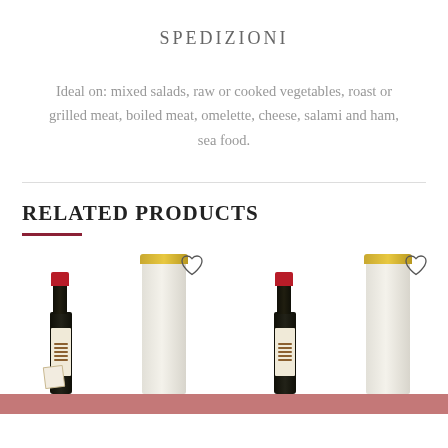SPEDIZIONI
Ideal on: mixed salads, raw or cooked vegetables, roast or grilled meat, boiled meat, omelette, cheese, salami and ham, sea food.
RELATED PRODUCTS
[Figure (photo): Two product images side by side showing Italian balsamic vinegar bottles with cream-colored cylindrical tube packaging, red wax-sealed bottle necks, with wishlist (heart) icons. Bottom of each product card shows a pinkish-red add-to-cart button partially visible.]